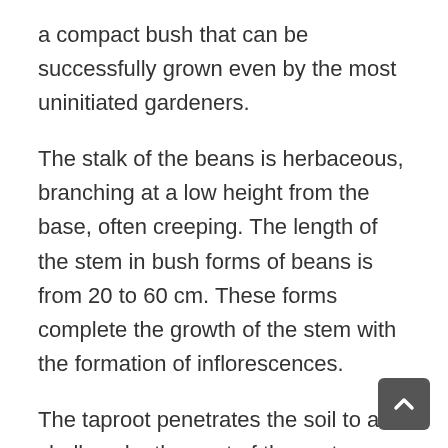a compact bush that can be successfully grown even by the most uninitiated gardeners.
The stalk of the beans is herbaceous, branching at a low height from the base, often creeping. The length of the stem in bush forms of beans is from 20 to 60 cm. These forms complete the growth of the stem with the formation of inflorescences.
The taproot penetrates the soil to a shallow depth, most of the roots are concentrated in a soil layer 20-25 cm thick and spread in all directions from the main root within a radius of up to 50 cm. nitrogen from the a